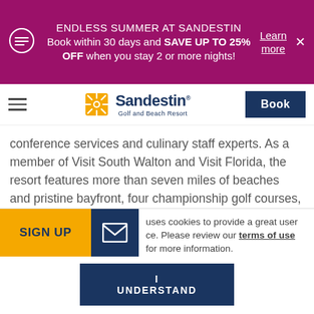ENDLESS SUMMER AT SANDESTIN Book within 30 days and SAVE UP TO 25% OFF when you stay 2 or more nights! Learn more
[Figure (logo): Sandestin Golf and Beach Resort logo with orange sunburst icon and dark blue text]
conference services and culinary staff experts. As a member of Visit South Walton and Visit Florida, the resort features more than seven miles of beaches and pristine bayfront, four championship golf courses, 15 world-class
uses cookies to provide a great user ce. Please review our terms of use for more information.
I UNDERSTAND